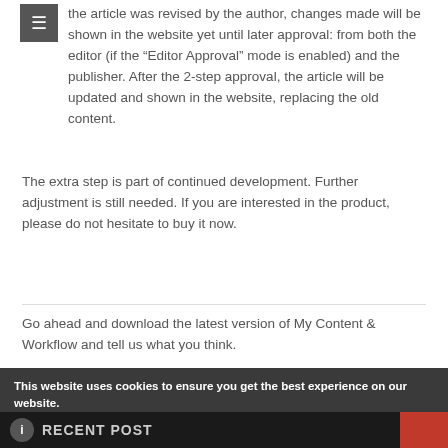the article was revised by the author, changes made will be shown in the website yet until later approval: from both the editor (if the "Editor Approval" mode is enabled) and the publisher. After the 2-step approval, the article will be updated and shown in the website, replacing the old content.
The extra step is part of continued development. Further adjustment is still needed. If you are interested in the product, please do not hesitate to buy it now.
Go ahead and download the latest version of My Content & Workflow and tell us what you think.
[Figure (screenshot): Cookie consent banner overlaying a dark background with a DOWNLOAD NOW button partially visible. Banner reads: 'This website uses cookies to ensure you get the best experience on our website.' with Cookie policy and Privacy policy links, and Decline / Allow cookies buttons.]
RECENT POST